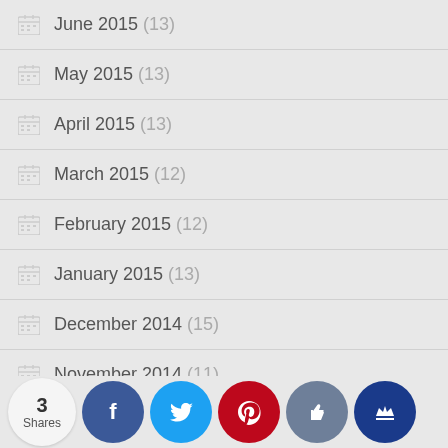June 2015 (13)
May 2015 (13)
April 2015 (13)
March 2015 (12)
February 2015 (12)
January 2015 (13)
December 2014 (15)
November 2014 (11)
October 2014 (16)
September 2014 (14)